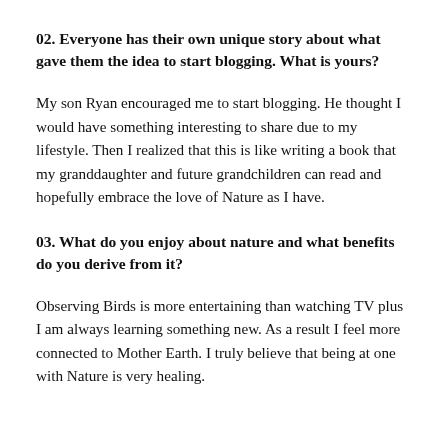02. Everyone has their own unique story about what gave them the idea to start blogging. What is yours?
My son Ryan encouraged me to start blogging. He thought I would have something interesting to share due to my lifestyle. Then I realized that this is like writing a book that my granddaughter and future grandchildren can read and hopefully embrace the love of Nature as I have.
03. What do you enjoy about nature and what benefits do you derive from it?
Observing Birds is more entertaining than watching TV plus I am always learning something new. As a result I feel more connected to Mother Earth. I truly believe that being at one with Nature is very healing.